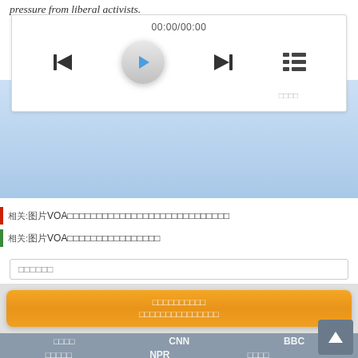pressure from liberal activists.
[Figure (screenshot): Audio media player with time display 00:00/00:00, skip back, play, skip forward, and playlist buttons]
“Impeachment is a divisive issue in our
相关:图片VOA中文网站相关政治新闻报道和分析
相关:图片VOA中文网站相关新闻
搜索内容
免费就可轻松揚遇地门不着的精彩内容，请立刻下载
免费下载《美国之音》手机软件
首页
CNN
BBC
视频流
NPR
联系我们